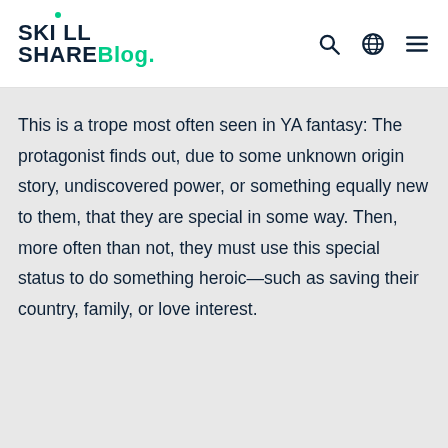Skill Share Blog.
This is a trope most often seen in YA fantasy: The protagonist finds out, due to some unknown origin story, undiscovered power, or something equally new to them, that they are special in some way. Then, more often than not, they must use this special status to do something heroic—such as saving their country, family, or love interest.